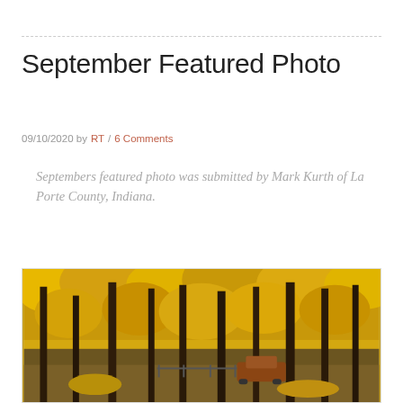September Featured Photo
09/10/2020 by RT / 6 Comments
Septembers featured photo was submitted by Mark Kurth of La Porte County, Indiana.
[Figure (photo): Autumn forest scene with tall trees displaying bright golden-yellow foliage, with a vehicle partially visible among the trees]